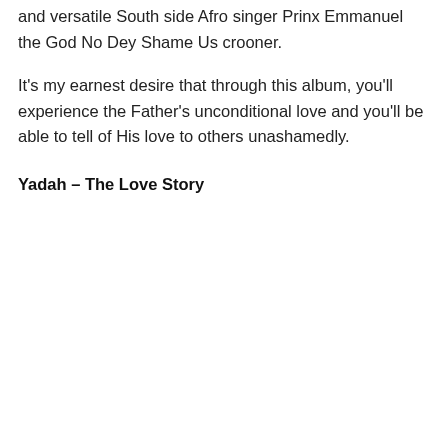and versatile South side Afro singer Prinx Emmanuel the God No Dey Shame Us crooner.
It’s my earnest desire that through this album, you’ll experience the Father’s unconditional love and you’ll be able to tell of His love to others unashamedly.
Yadah – The Love Story